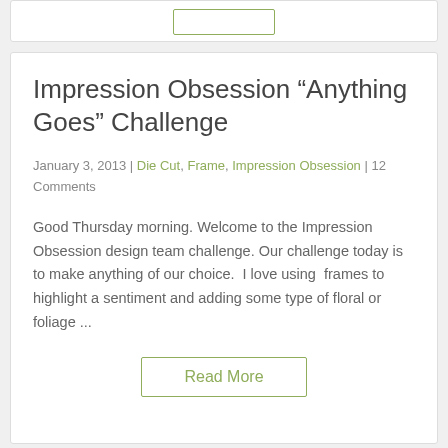Impression Obsession “Anything Goes” Challenge
January 3, 2013 | Die Cut, Frame, Impression Obsession | 12 Comments
Good Thursday morning. Welcome to the Impression Obsession design team challenge. Our challenge today is to make anything of our choice.  I love using  frames to highlight a sentiment and adding some type of floral or foliage ...